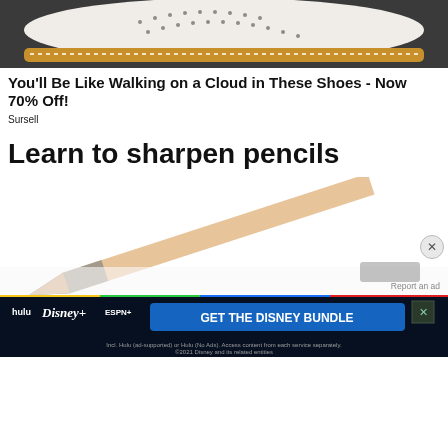[Figure (photo): Close-up of white leather shoe with perforations and tan/gold stitched sole on dark pavement]
You'll Be Like Walking on a Cloud in These Shoes - Now 70% Off!
Sursell
Learn to sharpen pencils
[Figure (photo): Close-up of a sharpened pencil with graphite tip against white background]
[Figure (screenshot): Disney Bundle advertisement banner showing Hulu, Disney+, and ESPN+ logos with 'GET THE DISNEY BUNDLE' call to action]